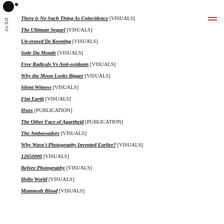ALSO
There is No Such Thing As Coincidence [VISUALS]
The Ultimate Sequel [VISUALS]
Un-erased De Kooning [VISUALS]
Sode Du Monde [VISUALS]
Free Radicals Vs Anti-oxidants [VISUALS]
Why the Moon Looks Bigger [VISUALS]
Silent Witness [VISUALS]
Flat Earth [VISUALS]
Hoax [PUBLICATION]
The Other Face of Apartheid [PUBLICATION]
The Ambassadors [VISUALS]
Why Wasn't Photography Invented Earlier? [VISUALS]
12650000 [VISUALS]
Before Photography [VISUALS]
Hello World [VISUALS]
Mammoth Blood [VISUALS]